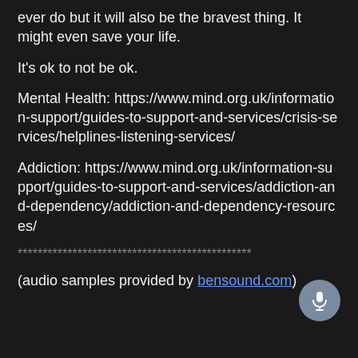ever do but it will also be the bravest thing. It might even save your life.
It's ok to not be ok.
Mental Health: https://www.mind.org.uk/information-support/guides-to-support-and-services/crisis-services/helplines-listening-services/
Addiction: https://www.mind.org.uk/information-support/guides-to-support-and-services/addiction-and-dependency/addiction-and-dependency-resources/
***********************************************
(audio samples provided by bensound.com)